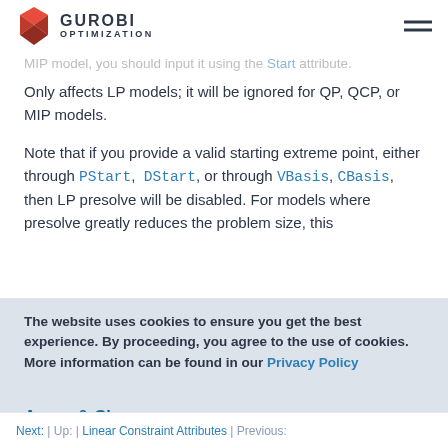GUROBI OPTIMIZATION
MIP model, you should input it using the Start attribute.
Only affects LP models; it will be ignored for QP, QCP, or MIP models.
Note that if you provide a valid starting extreme point, either through PStart, DStart, or through VBasis, CBasis, then LP presolve will be disabled. For models where presolve greatly reduces the problem size, this
The website uses cookies to ensure you get the best experience. By proceeding, you agree to the use of cookies. More information can be found in our Privacy Policy
Agree & Close
Next: | Up: | Linear Constraint Attributes | Previous: